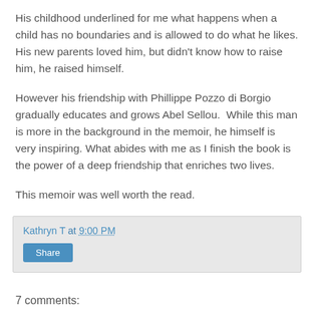His childhood underlined for me what happens when a child has no boundaries and is allowed to do what he likes. His new parents loved him, but didn't know how to raise him, he raised himself.
However his friendship with Phillippe Pozzo di Borgio gradually educates and grows Abel Sellou.  While this man is more in the background in the memoir, he himself is very inspiring. What abides with me as I finish the book is the power of a deep friendship that enriches two lives.
This memoir was well worth the read.
Kathryn T at 9:00 PM
Share
7 comments: